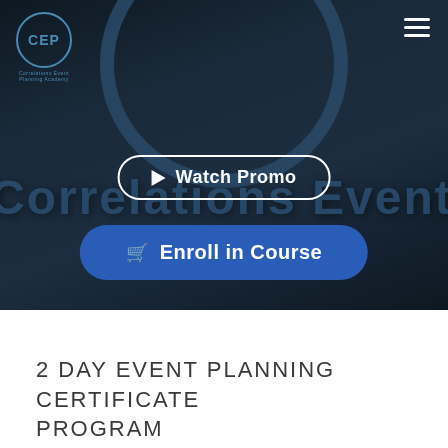[Figure (screenshot): Dark blue hero banner for Correlations Event Planning course page. Shows CEP logo in top-left, hamburger menu top-right, decorative circular arc at top center, '▶ Watch Promo' button with white outline border, and 'Enroll in Course' button in blue. Background shows large stylized text 'Correlations Event' in dark blue.]
2 DAY EVENT PLANNING CERTIFICATE PROGRAM